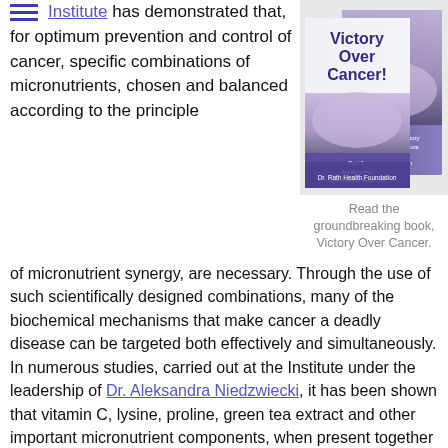Institute has demonstrated that, for optimum prevention and control of cancer, specific combinations of micronutrients, chosen and balanced according to the principle
[Figure (photo): Two copies of the book 'Victory Over Cancer!' by Dr. Rath Health Foundation, showing Part 1: Making the Unthinkable Possible and Part 2: ng History he Future]
Read the groundbreaking book, Victory Over Cancer.
of micronutrient synergy, are necessary. Through the use of such scientifically designed combinations, many of the biochemical mechanisms that make cancer a deadly disease can be targeted both effectively and simultaneously. In numerous studies, carried out at the Institute under the leadership of Dr. Aleksandra Niedzwiecki, it has been shown that vitamin C, lysine, proline, green tea extract and other important micronutrient components, when present together in synergistic proportions, can be effective in halting metastasis (the spread of cancer cells), decreasing